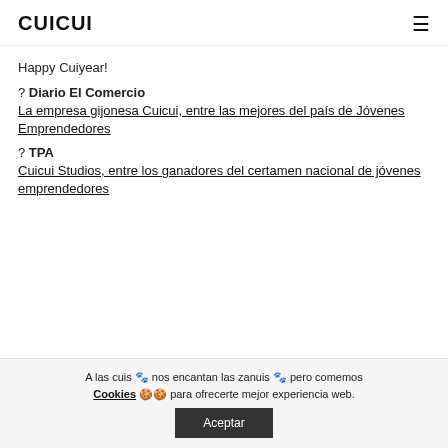CUICUI
Happy Cuiyear!
? Diario El Comercio
La empresa gijonesa Cuicui, entre las mejores del país de Jóvenes Emprendedores
? TPA
Cuicui Studios, entre los ganadores del certamen nacional de jóvenes emprendedores
A las cuis 🐾 nos encantan las zanuis 🐾 pero comemos Cookies 🍪🍪 para ofrecerte mejor experiencia web.
Aceptar